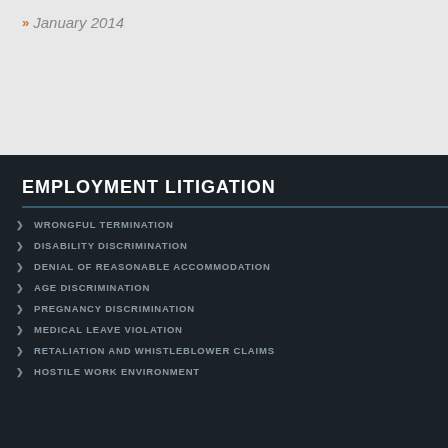January 2014
EMPLOYMENT LITIGATION
WRONGFUL TERMINATION
DISABILITY DISCRIMINATION
DENIAL OF REASONABLE ACCOMMODATION
AGE DISCRIMINATION
PREGNANCY DISCRIMINATION
MEDICAL LEAVE VIOLATION
RETALIATION AND WHISTLEBLOWER CLAIMS
HOSTILE WORK ENVIRONMENT